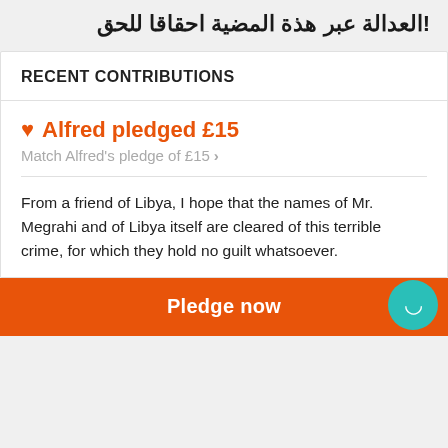!العدالة عبر هذة المضية احقاقا للحق
RECENT CONTRIBUTIONS
Alfred pledged £15
Match Alfred's pledge of £15 >
From a friend of Libya, I hope that the names of Mr. Megrahi and of Libya itself are cleared of this terrible crime, for which they hold no guilt whatsoever.
Pledge now